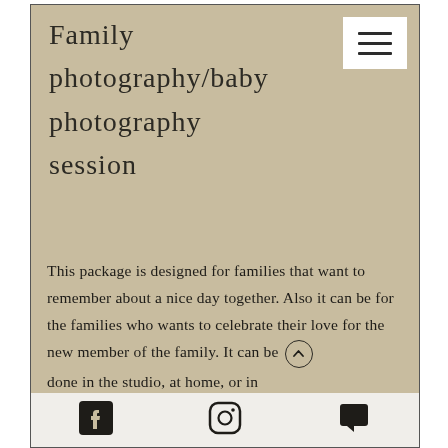Family photography/baby photography session
This package is designed for families that want to remember about a nice day together. Also it can be for the families who wants to celebrate their love for the new member of the family. It can be done in the studio, at home, or in
[Figure (screenshot): Bottom navigation bar with Facebook icon, Instagram icon, and chat/comment icon on a light beige background]